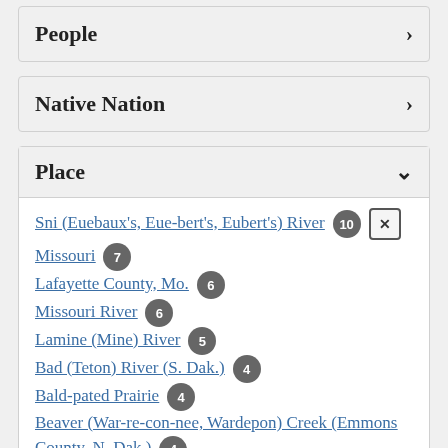People
Native Nation
Place
Sni (Euebaux's, Eue-bert's, Eubert's) River 10
Missouri 7
Lafayette County, Mo. 6
Missouri River 6
Lamine (Mine) River 5
Bad (Teton) River (S. Dak.) 4
Bald-pated Prairie 4
Beaver (War-re-con-nee, Wardepon) Creek (Emmons County, N. Dak.) 4
Big Blue (Blue Water) River (Mo.) 4